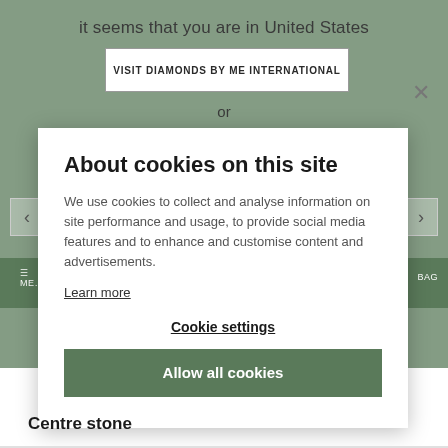it seems that you are in United States
VISIT DIAMONDS BY ME INTERNATIONAL
or
About cookies on this site
We use cookies to collect and analyse information on site performance and usage, to provide social media features and to enhance and customise content and advertisements.
Learn more
Cookie settings
Allow all cookies
Centre stone